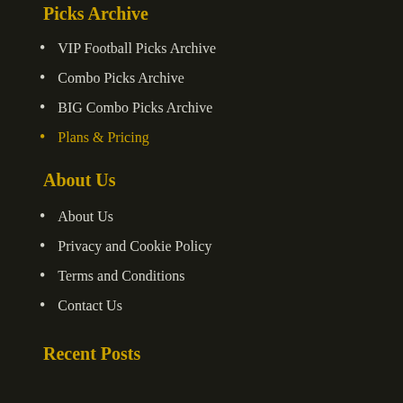Picks Archive
VIP Football Picks Archive
Combo Picks Archive
BIG Combo Picks Archive
Plans & Pricing
About Us
About Us
Privacy and Cookie Policy
Terms and Conditions
Contact Us
Recent Posts